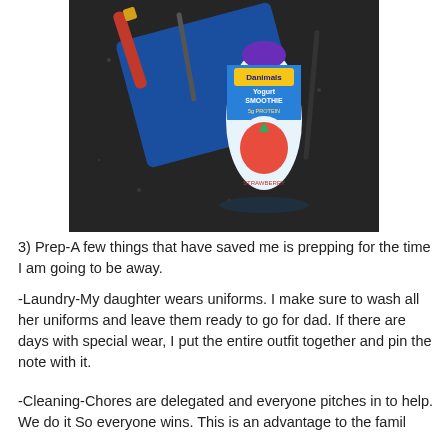[Figure (photo): Photo of items on a dark countertop including a blue folder/notebook, a red lip gloss or marker, pencils, and a Danimals Yogurt Smoothie bottle with strawberry flavor.]
3)  Prep-A few things that have saved me is prepping for the time I am going to be away.
-Laundry-My daughter wears uniforms.  I make sure to wash all her uniforms and leave them ready to go for dad.  If there are days with special wear, I put the entire outfit together and pin the note with it.
-Cleaning-Chores are delegated and everyone pitches in to help. We do it So everyone wins. This is an advantage to the famil